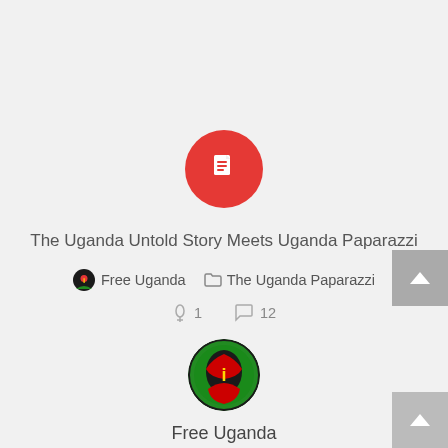[Figure (logo): Red circle with white document/file icon in center]
The Uganda Untold Story Meets Uganda Paparazzi
Free Uganda   The Uganda Paparazzi
1   12
[Figure (logo): Circular logo with Africa map silhouette in black, green, red, yellow colors - Free Uganda logo]
Free Uganda
4 Years, 7 Months Ago